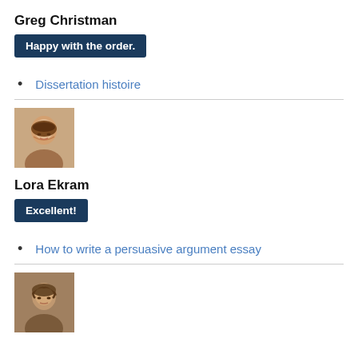Greg Christman
Happy with the order.
Dissertation histoire
[Figure (photo): Portrait photo of a young woman with long brown hair, smiling]
Lora Ekram
Excellent!
How to write a persuasive argument essay
[Figure (photo): Portrait photo of a young man with curly brown hair]